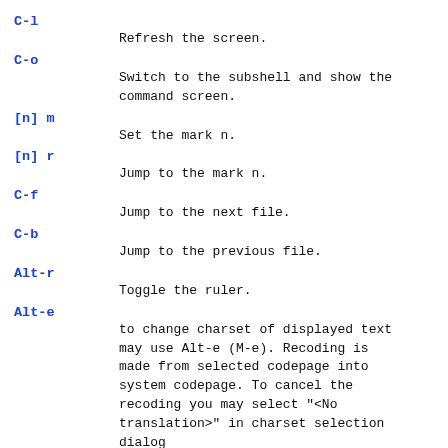C-l
    Refresh the screen.
C-o
    Switch to the subshell and show the command screen.
[n] m
    Set the mark n.
[n] r
    Jump to the mark n.
C-f
    Jump to the next file.
C-b
    Jump to the previous file.
Alt-r
    Toggle the ruler.
Alt-e
    to change charset of displayed text may use Alt-e (M-e). Recoding is made from selected codepage into system codepage. To cancel the recoding you may select "<No translation>" in charset selection dialog